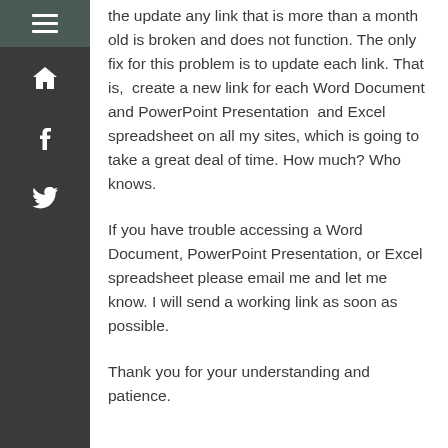the update any link that is more than a month old is broken and does not function. The only fix for this problem is to update each link. That is,  create a new link for each Word Document and PowerPoint Presentation  and Excel spreadsheet on all my sites, which is going to take a great deal of time. How much? Who knows.
If you have trouble accessing a Word Document, PowerPoint Presentation, or Excel spreadsheet please email me and let me know. I will send a working link as soon as possible.
Thank you for your understanding and patience.